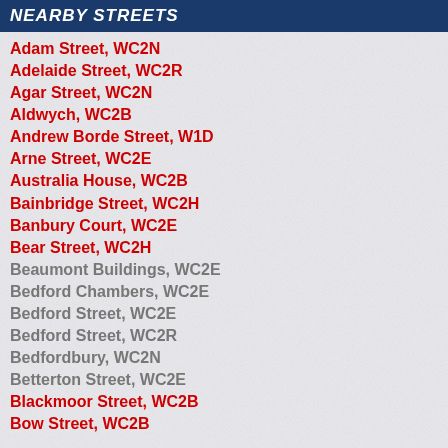NEARBY STREETS
Adam Street, WC2N
Adelaide Street, WC2R
Agar Street, WC2N
Aldwych, WC2B
Andrew Borde Street, W1D
Arne Street, WC2E
Australia House, WC2B
Bainbridge Street, WC2H
Banbury Court, WC2E
Bear Street, WC2H
Beaumont Buildings, WC2E
Bedford Chambers, WC2E
Bedford Street, WC2E
Bedford Street, WC2R
Bedfordbury, WC2N
Betterton Street, WC2E
Blackmoor Street, WC2B
Bow Street, WC2B